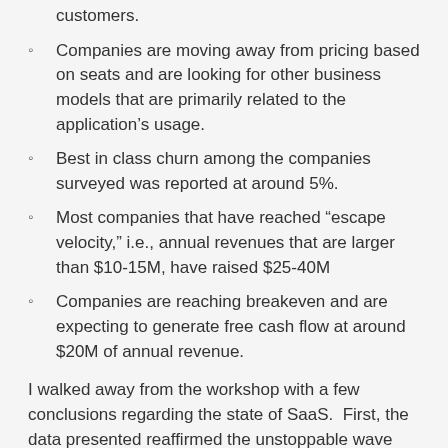customers.
Companies are moving away from pricing based on seats and are looking for other business models that are primarily related to the application's usage.
Best in class churn among the companies surveyed was reported at around 5%.
Most companies that have reached “escape velocity,” i.e., annual revenues that are larger than $10-15M, have raised $25-40M
Companies are reaching breakeven and are expecting to generate free cash flow at around $20M of annual revenue.
I walked away from the workshop with a few conclusions regarding the state of SaaS.  First, the data presented reaffirmed the unstoppable wave that SaaS and cloud